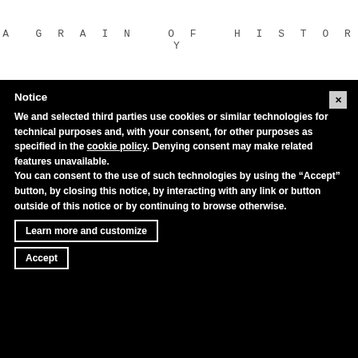A GRAIN OF HISTORY
Notice
We and selected third parties use cookies or similar technologies for technical purposes and, with your consent, for other purposes as specified in the cookie policy. Denying consent may make related features unavailable.
You can consent to the use of such technologies by using the “Accept” button, by closing this notice, by interacting with any link or button outside of this notice or by continuing to browse otherwise.
Learn more and customize
Accept